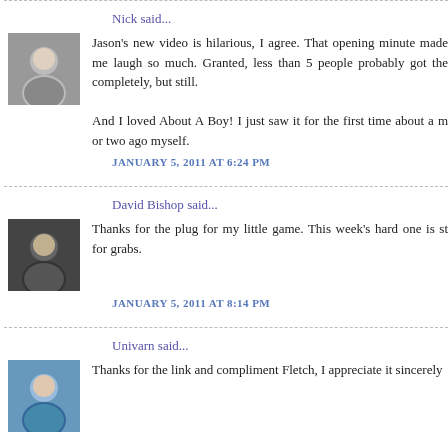Nick said...
Jason's new video is hilarious, I agree. That opening minute made me laugh so much. Granted, less than 5 people probably got the completely, but still.

And I loved About A Boy! I just saw it for the first time about a m or two ago myself.
JANUARY 5, 2011 AT 6:24 PM
David Bishop said...
Thanks for the plug for my little game. This week's hard one is st for grabs.
JANUARY 5, 2011 AT 8:14 PM
Univarn said...
Thanks for the link and compliment Fletch, I appreciate it sincerely